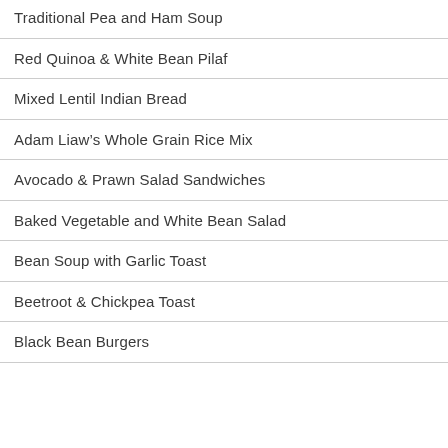Traditional Pea and Ham Soup
Red Quinoa & White Bean Pilaf
Mixed Lentil Indian Bread
Adam Liaw's Whole Grain Rice Mix
Avocado & Prawn Salad Sandwiches
Baked Vegetable and White Bean Salad
Bean Soup with Garlic Toast
Beetroot & Chickpea Toast
Black Bean Burgers